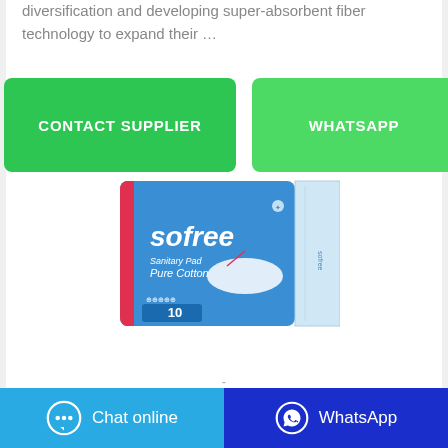diversification and developing super-absorbent fiber technology to expand their …
[Figure (other): CONTACT SUPPLIER button (green rounded rectangle)]
[Figure (other): WHATSAPP button (green rounded rectangle)]
[Figure (photo): Sofree Sanitary Pad Pure Cotton product package, blue box with 10 count, showing a pad]
[Figure (other): Chat online button (cyan/blue) with chat bubble icon]
[Figure (other): WhatsApp button (dark blue) with WhatsApp phone icon]